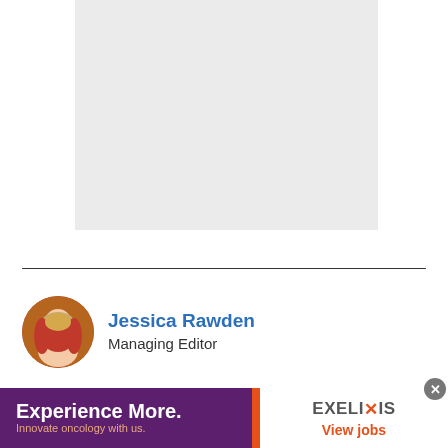[Figure (other): Light gray placeholder rectangle representing an image or article content area]
Jessica Rawden
Managing Editor
[Figure (infographic): Advertisement banner for Exelixis: 'Experience More. Innovate oncology with us.' with Exelixis logo and 'View jobs' link]